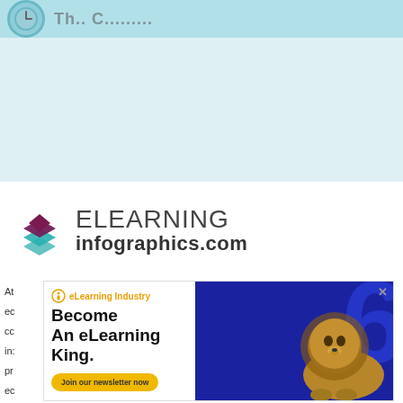[Figure (screenshot): Top banner with teal/cyan background showing partial clock circle and partial text, cropped at top of page]
[Figure (screenshot): Light blue background mid-section, empty content area]
[Figure (logo): eLearning Infographics logo with stacked diamond/layers icon in maroon, teal, and green colors, text reads ELEARNING infographics.com]
[Figure (screenshot): eLearning Industry advertisement banner featuring a lion photo on blue background with text: Become An eLearning King. Join our newsletter now button. Partially obscured text on left side starting with At, ec, cc, in:, pr, ec]